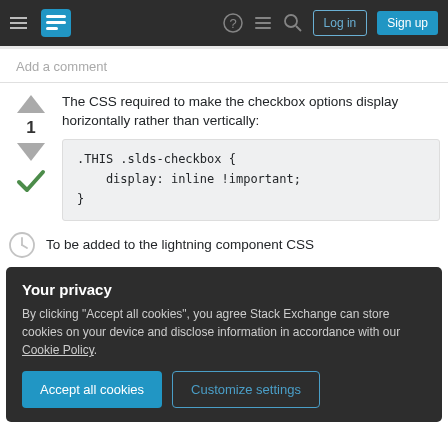Stack Exchange navigation bar with Log in and Sign up buttons
Add a comment
The CSS required to make the checkbox options display horizontally rather than vertically:
.THIS .slds-checkbox {
    display: inline !important;
}
To be added to the lightning component CSS
Your privacy
By clicking "Accept all cookies", you agree Stack Exchange can store cookies on your device and disclose information in accordance with our Cookie Policy.
Accept all cookies
Customize settings